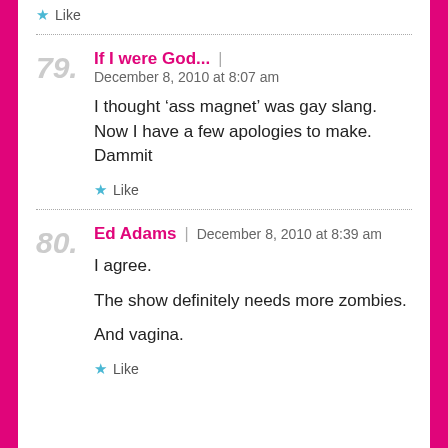Like
79. If I were God... | December 8, 2010 at 8:07 am
I thought ‘ass magnet’ was gay slang. Now I have a few apologies to make. Dammit
Like
80. Ed Adams | December 8, 2010 at 8:39 am
I agree.
The show definitely needs more zombies.
And vagina.
Like